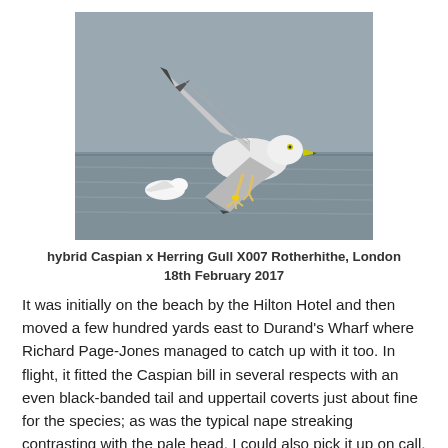[Figure (photo): A hybrid Caspian x Herring Gull in flight, wings spread, legs dangling with a yellow ring visible, over water with another gull in background. Grey-brown plumage with dark wingtips.]
hybrid Caspian x Herring Gull X007 Rotherhithe, London 18th February 2017
It was initially on the beach by the Hilton Hotel and then moved a few hundred yards east to Durand's Wharf where Richard Page-Jones managed to catch up with it too. In flight, it fitted the Caspian bill in several respects with an even black-banded tail and uppertail coverts just about fine for the species; as was the typical nape streaking contrasting with the pale head. I could also pick it up on call, very guttural and Caspian-like (though it never did the albatross posture). However, the bill itself was relatively